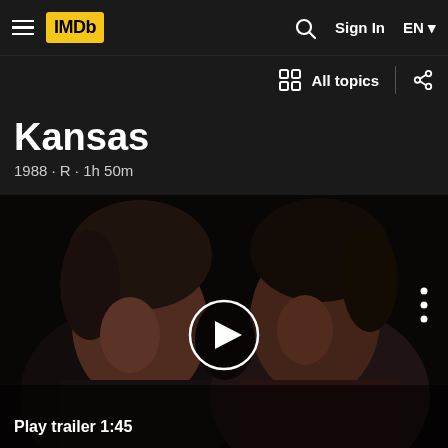IMDb navigation bar with logo, search, Sign In, EN
All topics
Kansas
1988 · R · 1h 50m
[Figure (screenshot): Film still showing two young men facing each other close up in a dark scene, with a circular play button in the center and 'Play trailer 1:45' label at bottom left]